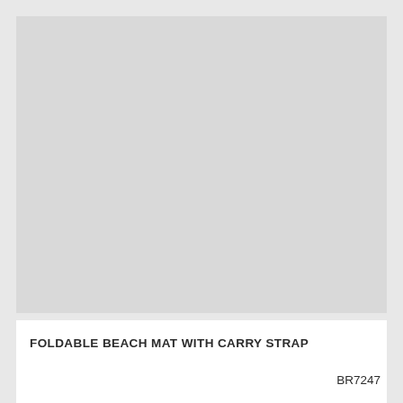[Figure (photo): Product image placeholder - light gray rectangle representing a foldable beach mat photo]
FOLDABLE BEACH MAT WITH CARRY STRAP
BR7247
[Figure (photo): Second product image placeholder - light gray rectangle at bottom]